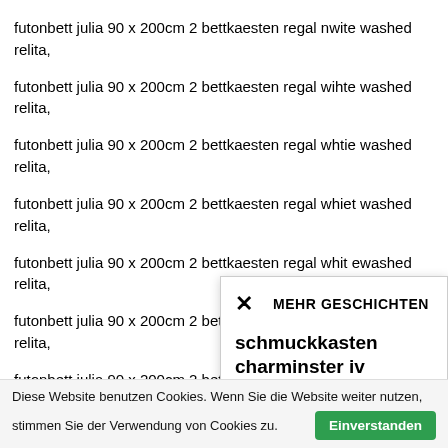futonbett julia 90 x 200cm 2 bettkaesten regal nwite washed relita,
futonbett julia 90 x 200cm 2 bettkaesten regal wihte washed relita,
futonbett julia 90 x 200cm 2 bettkaesten regal whtie washed relita,
futonbett julia 90 x 200cm 2 bettkaesten regal whiet washed relita,
futonbett julia 90 x 200cm 2 bettkaesten regal whit ewashed relita,
futonbett julia 90 x 200cm 2 bettkaesten regal whitew ashed relita,
futonbett julia 90 x 200cm 2 bettkaesten regal white awshed relita,
futonbett julia 90 x 200cm 2 bettkaesten regal white wsahed relita,
futonbett julia 90 x 200cm 2 bettkaesten regal white wahsed relita,
futonbett julia 90 x 200cm 2 bettkaesten regal white wasehd relita,
futonbett julia 9...
futonbett julia 9...
futonbett julia 9...
futonbett julia 9...
futonbett julia 9...
futonbett julia 9...
futonbett julia 9...
futonbett julia 9...
✕  MEHR GESCHICHTEN
schmuckkasten charminster iv paulownia teilmassiv maison belfort
Diese Website benutzen Cookies. Wenn Sie die Website weiter nutzen, stimmen Sie der Verwendung von Cookies zu.